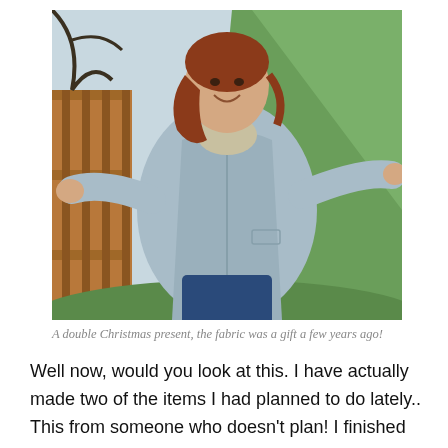[Figure (photo): A woman with reddish-brown hair smiling and posing with arms outstretched, wearing a light blue/grey jacket over a striped shirt and dark jeans, photographed outdoors in a yard with grass and a wooden fence visible in the background.]
A double Christmas present, the fabric was a gift a few years ago!
Well now, would you look at this.  I have actually made two of the items I had planned to do lately..  This from someone who doesn't plan!  I finished this jacket on Tuesday, but the weather was not playing ball for